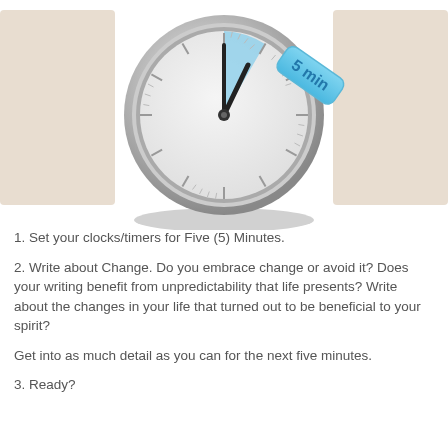[Figure (illustration): A round analog clock/timer showing approximately 12:00 with a blue highlighted wedge for 5 minutes, and a blue badge reading '5 min' at the top right. The clock has a metallic silver bezel and a light gray face with tick marks.]
1. Set your clocks/timers for Five (5) Minutes.
2. Write about Change. Do you embrace change or avoid it? Does your writing benefit from unpredictability that life presents? Write about the changes in your life that turned out to be beneficial to your spirit?
Get into as much detail as you can for the next five minutes.
3. Ready?